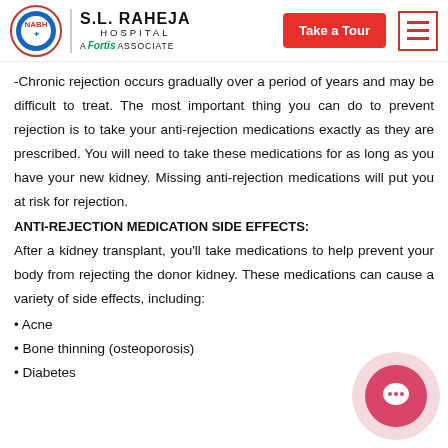S.L. RAHEJA HOSPITAL | A Fortis Associate | Take a Tour
-Chronic rejection occurs gradually over a period of years and may be difficult to treat. The most important thing you can do to prevent rejection is to take your anti-rejection medications exactly as they are prescribed. You will need to take these medications for as long as you have your new kidney. Missing anti-rejection medications will put you at risk for rejection.
ANTI-REJECTION MEDICATION SIDE EFFECTS:
After a kidney transplant, you'll take medications to help prevent your body from rejecting the donor kidney. These medications can cause a variety of side effects, including:
• Acne
• Bone thinning (osteoporosis)
• Diabetes